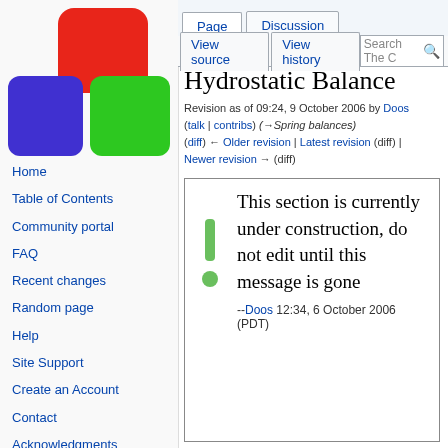Log in
[Figure (logo): Wiki logo with red rounded rectangle on top, purple rounded rectangle bottom-left, green rounded rectangle bottom-right]
Home
Table of Contents
Community portal
FAQ
Recent changes
Random page
Help
Site Support
Create an Account
Contact
Acknowledgments
Tools
All Pages
Hydrostatic Balance
Revision as of 09:24, 9 October 2006 by Doos (talk | contribs) (→Spring balances) (diff) ← Older revision | Latest revision (diff) | Newer revision → (diff)
This section is currently under construction, do not edit until this message is gone
--Doos 12:34, 6 October 2006 (PDT)